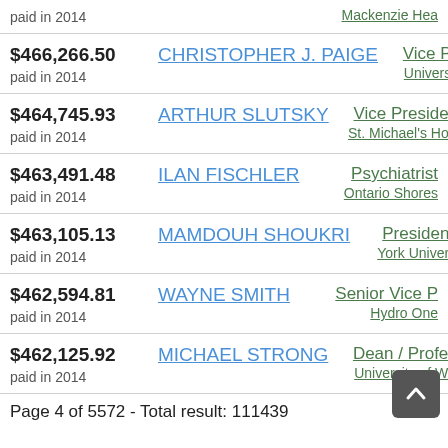| Amount | Name | Role / Organization |
| --- | --- | --- |
|  | paid in 2014 | Mackenzie Hea |
| $466,266.50 | CHRISTOPHER J. PAIGE | Vice Preside |
| paid in 2014 |  | University Heal |
| $464,745.93 | ARTHUR SLUTSKY | Vice Preside |
| paid in 2014 |  | St. Michael's Ho |
| $463,491.48 | ILAN FISCHLER | Psychiatrist |
| paid in 2014 |  | Ontario Shores |
| $463,105.13 | MAMDOUH SHOUKRI | President & |
| paid in 2014 |  | York University |
| $462,594.81 | WAYNE SMITH | Senior Vice P |
| paid in 2014 |  | Hydro One |
| $462,125.92 | MICHAEL STRONG | Dean / Profe |
| paid in 2014 |  | University of W |
Page 4 of 5572 - Total result: 111439